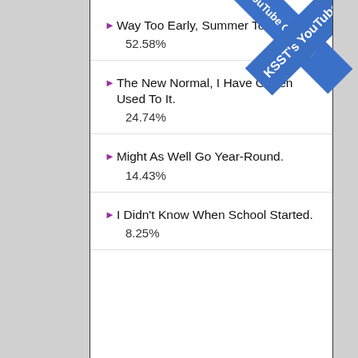Way Too Early, Summer Too Short ! — 52.58%
The New Normal, I Have Gotten Used To It. — 24.74%
Might As Well Go Year-Round. — 14.43%
I Didn't Know When School Started. — 8.25%
[Figure (other): Blue diagonal ribbon banner with text KSST's YouTube Channel]